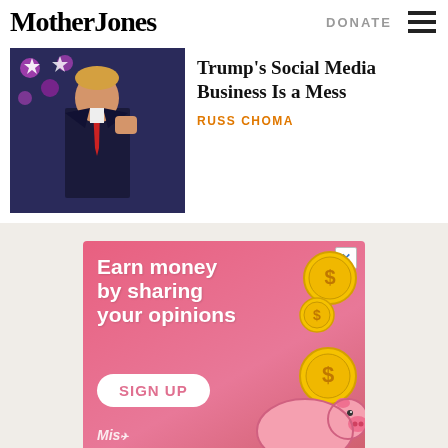Mother Jones
DONATE
[Figure (screenshot): Mother Jones website screenshot showing article thumbnail of Trump at CPAC with article title and author]
Trump's Social Media Business Is a Mess
RUSS CHOMA
[Figure (advertisement): Pink advertisement banner reading 'Earn money by sharing your opinions' with coin graphics and a 'SIGN UP' button, branded with Mis logo]